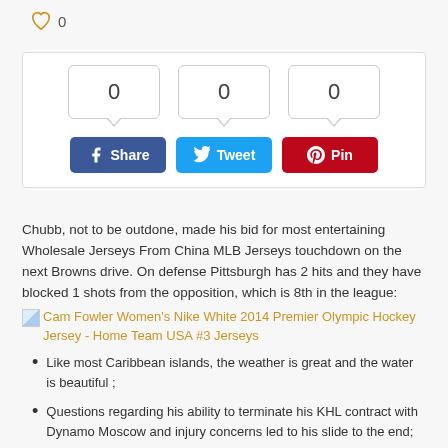♡ 0
[Figure (screenshot): Social share widget with three counter boxes showing 0, 0, 0 and three buttons: Facebook Share (blue), Twitter Tweet (light blue), Pinterest Pin (dark red)]
Chubb, not to be outdone, made his bid for most entertaining Wholesale Jerseys From China MLB Jerseys touchdown on the next Browns drive. On defense Pittsburgh has 2 hits and they have blocked 1 shots from the opposition, which is 8th in the league:
[img] Cam Fowler Women's Nike White 2014 Premier Olympic Hockey Jersey - Home Team USA #3 Jerseys
Like most Caribbean islands, the weather is great and the water is beautiful ;
Questions regarding his ability to terminate his KHL contract with Dynamo Moscow and injury concerns led to his slide to the end;